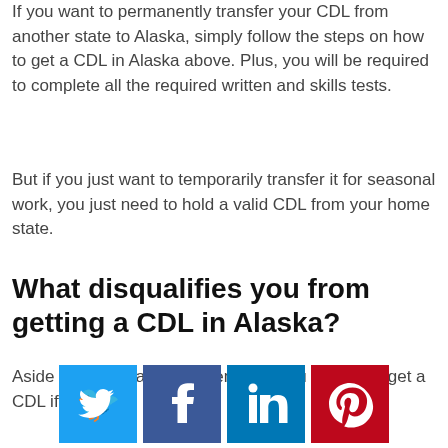If you want to permanently transfer your CDL from another state to Alaska, simply follow the steps on how to get a CDL in Alaska above. Plus, you will be required to complete all the required written and skills tests.
But if you just want to temporarily transfer it for seasonal work, you just need to hold a valid CDL from your home state.
What disqualifies you from getting a CDL in Alaska?
Aside from the basic requirements, you CANNOT get a CDL if you have:
[Figure (infographic): Social media share buttons: Twitter (blue), Facebook (dark blue), LinkedIn (blue), Pinterest (red)]